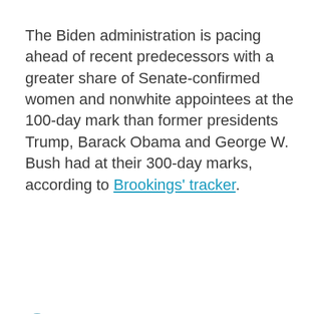The Biden administration is pacing ahead of recent predecessors with a greater share of Senate-confirmed women and nonwhite appointees at the 100-day mark than former presidents Trump, Barack Obama and George W. Bush had at their 300-day marks, according to Brookings' tracker.
[Figure (other): Expand/resize icon — a small circle containing two diagonal arrows pointing outward (northeast and southwest), indicating an interactive expand control.]